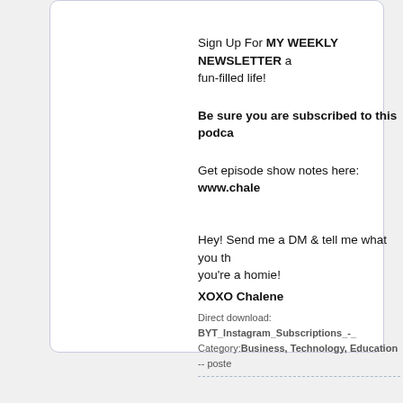Sign Up For MY WEEKLY NEWSLETTER and live a fun-filled life!
Be sure you are subscribed to this podcast.
Get episode show notes here: www.chale...
Hey! Send me a DM & tell me what you th... you're a homie!

XOXO Chalene
Direct download: BYT_Instagram_Subscriptions_-_... Category: Business, Technology, Education -- poste...